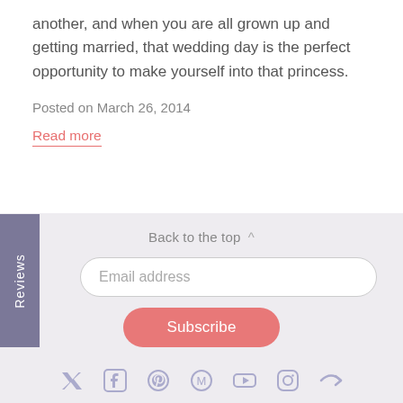another, and when you are all grown up and getting married, that wedding day is the perfect opportunity to make yourself into that princess.
Posted on March 26, 2014
Read more
Back to the top ^
Email address
Subscribe
Reviews